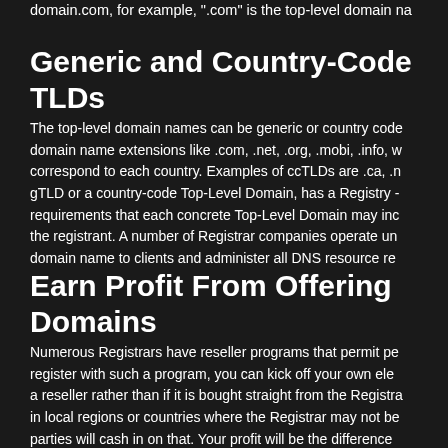domain.com, for example, ".com" is the top-level domain na
Generic and Country-Code TLDs
The top-level domain names can be generic or country code domain name extensions like .com, .net, .org, .mobi, .info, w correspond to each country. Examples of ccTLDs are .ca, .n gTLD or a country-code Top-Level Domain, has a Registry - requirements that each concrete Top-Level Domain may inc the registrant. A number of Registrar companies operate un domain name to clients and administer all DNS resource re
Earn Profit From Offering Domains
Numerous Registrars have reseller programs that permit pe register with such a program, you can kick off your own ele a reseller rather than if it is bought straight from the Registra in local regions or countries where the Registrar may not be parties will cash in on that. Your profit will be the difference imposes for the domain name registration.